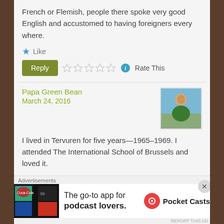French or Flemish, people there spoke very good English and accustomed to having foreigners every where.
Like
Reply   Rate This
Papa Green Bean
March 24, 2016
[Figure (photo): Avatar photo of Papa Green Bean, a man in a green jacket outdoors near water]
I lived in Tervuren for five years—1965–1969. I attended The International School of Brussels and loved it.
Like
Advertisements
[Figure (screenshot): Pocket Casts advertisement: The go-to app for podcast lovers. Shows colorful app icon tiles on left and Pocket Casts logo on right.]